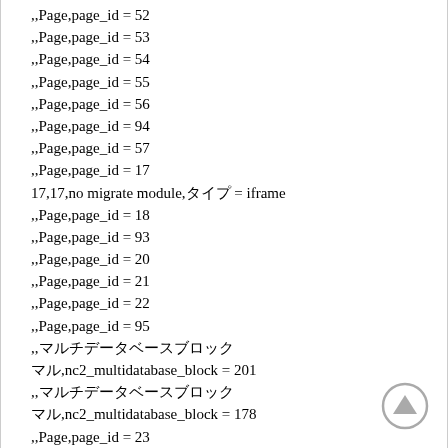,,Page,page_id = 52
,,Page,page_id = 53
,,Page,page_id = 54
,,Page,page_id = 55
,,Page,page_id = 56
,,Page,page_id = 94
,,Page,page_id = 57
,,Page,page_id = 17
17,17,no migrate module,タイプ = iframe
,,Page,page_id = 18
,,Page,page_id = 93
,,Page,page_id = 20
,,Page,page_id = 21
,,Page,page_id = 22
,,Page,page_id = 95
,,マルチデータベースブロック
□□,nc2_multidatabase_block = 201
,,マルチデータベースブロック
□□,nc2_multidatabase_block = 178
,,Page,page_id = 23
,,Page,page_id = 82
,,Page,page_id = 96